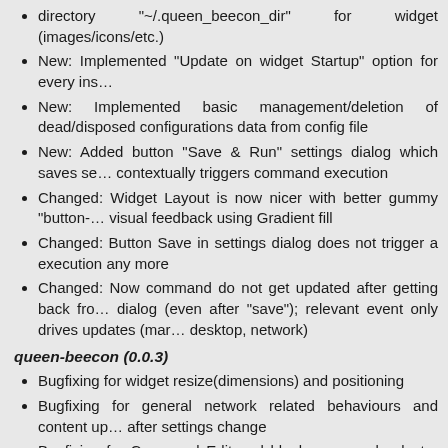directory "~/.queen_beecon_dir" for widget (images/icons/etc.)
New: Implemented "Update on widget Startup" option for every ins…
New: Implemented basic management/deletion of dead/disposed configurations data from config file
New: Added button "Save & Run" settings dialog which saves se… contextually triggers command execution
Changed: Widget Layout is now nicer with better gummy "button-… visual feedback using Gradient fill
Changed: Button Save in settings dialog does not trigger a execution any more
Changed: Now command do not get updated after getting back fro… dialog (even after "save"); relevant event only drives updates (mar… desktop, network)
queen-beecon (0.0.3)
Bugfixing for widget resize(dimensions) and positioning
Bugfixing for general network related behaviours and content up… after settings change
Bugfixing for Command Edit and blank command selector after… from command edit dialog
Changed Exit Code output for command from !?0000xxxx to !?xxx…